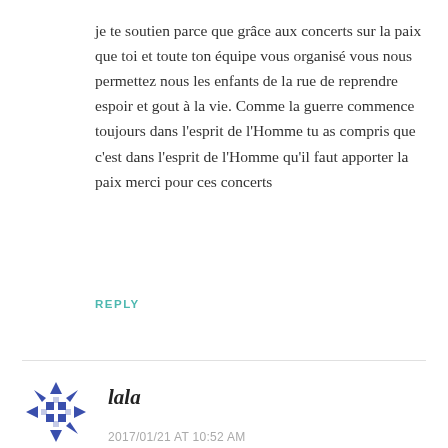je te soutien parce que grâce aux concerts sur la paix que toi et toute ton équipe vous organisé vous nous permettez nous les enfants de la rue de reprendre espoir et gout à la vie. Comme la guerre commence toujours dans l'esprit de l'Homme tu as compris que c'est dans l'esprit de l'Homme qu'il faut apporter la paix merci pour ces concerts
REPLY
[Figure (illustration): Decorative avatar icon: a geometric star/snowflake pattern in blue and purple tones on white background]
lala
2017/01/21 AT 10:52 AM